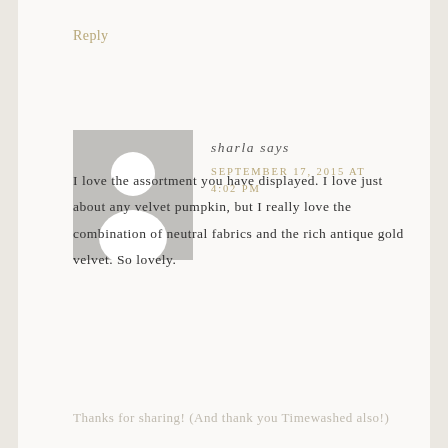Reply
[Figure (illustration): Generic avatar/profile placeholder image — grey square with white silhouette of a person (head and shoulders)]
sharla says
SEPTEMBER 17, 2015 AT 4:02 PM
I love the assortment you have displayed. I love just about any velvet pumpkin, but I really love the combination of neutral fabrics and the rich antique gold velvet. So lovely.
Thanks for sharing! (And thank you Timewashed also!)